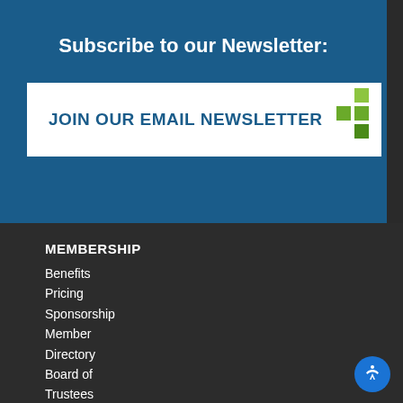Subscribe to our Newsletter:
JOIN OUR EMAIL NEWSLETTER
MEMBERSHIP
Benefits
Pricing
Sponsorship
Member Directory
Board of Trustees
Member Marketplace
Member News